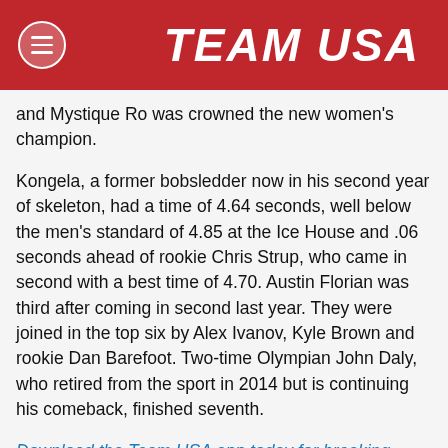TEAM USA
and Mystique Ro was crowned the new women's champion.
Kongela, a former bobsledder now in his second year of skeleton, had a time of 4.64 seconds, well below the men's standard of 4.85 at the Ice House and .06 seconds ahead of rookie Chris Strup, who came in second with a best time of 4.70. Austin Florian was third after coming in second last year. They were joined in the top six by Alex Ivanov, Kyle Brown and rookie Dan Barefoot. Two-time Olympian John Daly, who retired from the sport in 2014 but is continuing his comeback, finished seventh.
Download the Team USA app today for breaking news, Olympic and Paralympic team bios, videos and more.